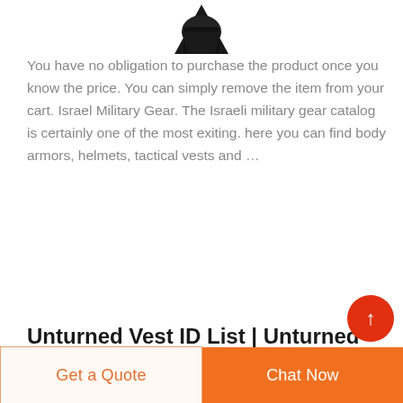[Figure (photo): Partial product image (dark military gear item) cropped at top of page]
You have no obligation to purchase the product once you know the price. You can simply remove the item from your cart. Israel Military Gear. The Israeli military gear catalog is certainly one of the most exiting. here you can find body armors, helmets, tactical vests and …
Unturned Vest ID List | Unturned
Get a Quote
Chat Now